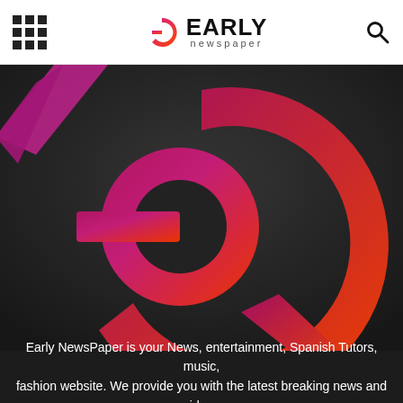Early newspaper
[Figure (logo): Large Early Newspaper stylized 'e' logo on dark background. The logo consists of a circular 'e' shape with a gradient from magenta/purple on the left to orange/red on the right, with a decorative arrow element at the bottom right. A smaller pink/magenta triangular or V-shape appears in the upper left corner.]
Early NewsPaper is your News, entertainment, Spanish Tutors, music, fashion website. We provide you with the latest breaking news and videos